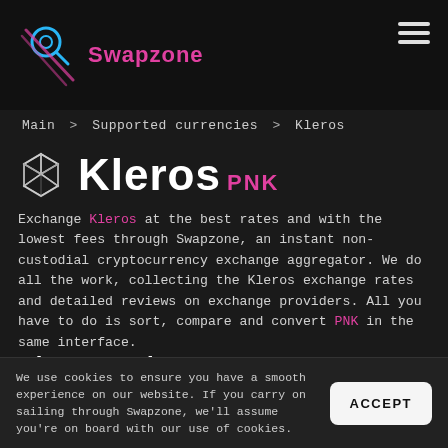Swapzone
Main > Supported currencies > Kleros
Kleros PNK
Exchange Kleros at the best rates and with the lowest fees through Swapzone, an instant non-custodial cryptocurrency exchange aggregator. We do all the work, collecting the Kleros exchange rates and detailed reviews on exchange providers. All you have to do is sort, compare and convert PNK in the same interface.
Kleros Exchange Rate
We use cookies to ensure you have a smooth experience on our website. If you carry on sailing through Swapzone, we'll assume you're on board with our use of cookies.